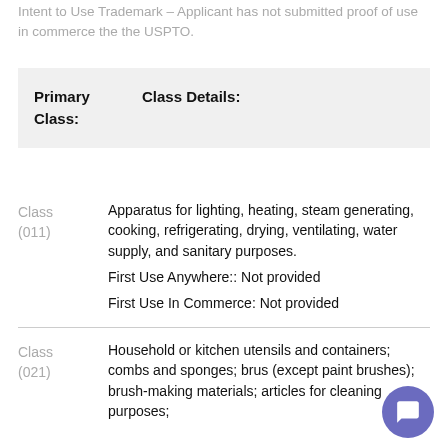Intent to Use Trademark – Applicant has not submitted proof of use in commerce the the USPTO.
| Primary Class: | Class Details: |
| --- | --- |
Class (011)
Apparatus for lighting, heating, steam generating, cooking, refrigerating, drying, ventilating, water supply, and sanitary purposes.
First Use Anywhere:: Not provided
First Use In Commerce: Not provided
Class (021)
Household or kitchen utensils and containers; combs and sponges; brus (except paint brushes); brush-making materials; articles for cleaning purposes;